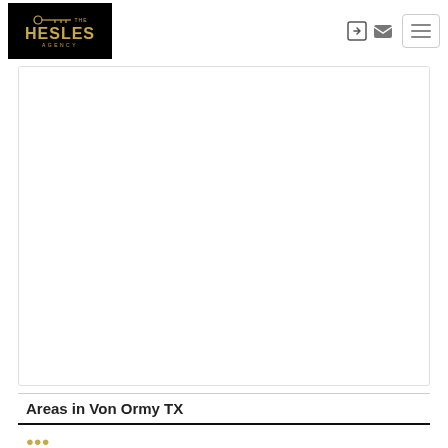The Hesles Agency — navigation header with logo and icons
[Figure (screenshot): Large white content card area (map or listing area, blank/white)]
Areas in Von Ormy TX